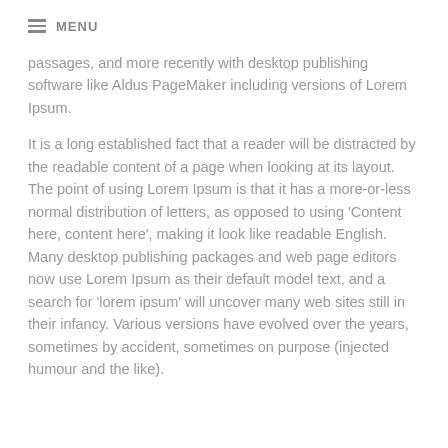MENU
passages, and more recently with desktop publishing software like Aldus PageMaker including versions of Lorem Ipsum.
It is a long established fact that a reader will be distracted by the readable content of a page when looking at its layout. The point of using Lorem Ipsum is that it has a more-or-less normal distribution of letters, as opposed to using 'Content here, content here', making it look like readable English. Many desktop publishing packages and web page editors now use Lorem Ipsum as their default model text, and a search for 'lorem ipsum' will uncover many web sites still in their infancy. Various versions have evolved over the years, sometimes by accident, sometimes on purpose (injected humour and the like).